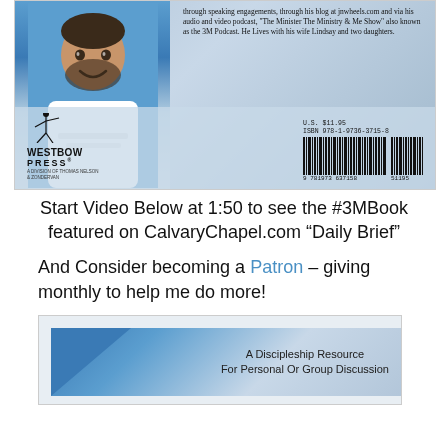[Figure (photo): Back cover of a book showing a man in a white t-shirt against a blue background on the left, descriptive text on the upper right, WestBow Press logo on lower left, and a barcode with ISBN 978-1-9736-3715-8 and price U.S. $11.95 on lower right.]
Start Video Below at 1:50 to see the #3MBook featured on CalvaryChapel.com “Daily Brief”
And Consider becoming a Patron – giving monthly to help me do more!
[Figure (screenshot): Video thumbnail showing a book cover with blue triangle in upper left and text 'A Discipleship Resource For Personal Or Group Discussion' on a light background.]